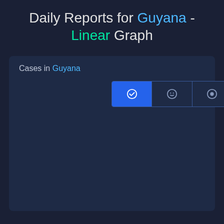Daily Reports for Guyana - Linear Graph
[Figure (other): A dark-themed chart panel showing 'Cases in Guyana' with a toggle button group (three buttons: checkmark selected/active in blue, smiley face, circle/dot) and an empty chart area below.]